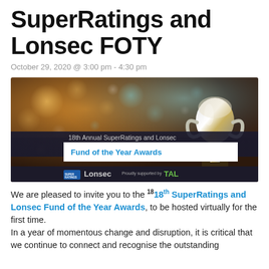SuperRatings and Lonsec FOTY
October 29, 2020 @ 3:00 pm - 4:30 pm
[Figure (photo): 18th Annual SuperRatings and Lonsec Fund of the Year Awards banner image featuring a silver trophy against a bokeh background, with logos for SuperRatings, Lonsec, and TAL]
We are pleased to invite you to the 18th SuperRatings and Lonsec Fund of the Year Awards, to be hosted virtually for the first time. In a year of momentous change and disruption, it is critical that we continue to connect and recognise the outstanding